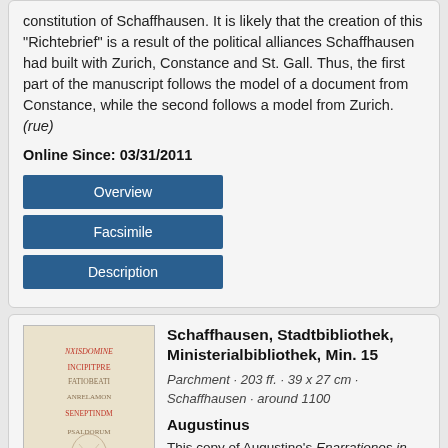constitution of Schaffhausen. It is likely that the creation of this "Richtebrief" is a result of the political alliances Schaffhausen had built with Zurich, Constance and St. Gall. Thus, the first part of the manuscript follows the model of a document from Constance, while the second follows a model from Zurich. (rue)
Online Since: 03/31/2011
Overview
Facsimile
Description
Schaffhausen, Stadtbibliothek, Ministerialbibliothek, Min. 15
Parchment · 203 ff. · 39 x 27 cm · Schaffhausen · around 1100
Augustinus
This copy of Augustine's Enarrationes in psalmos 1–50, written in two columns, is listed in the supplements to the Allerheiligen Abbey register of books from